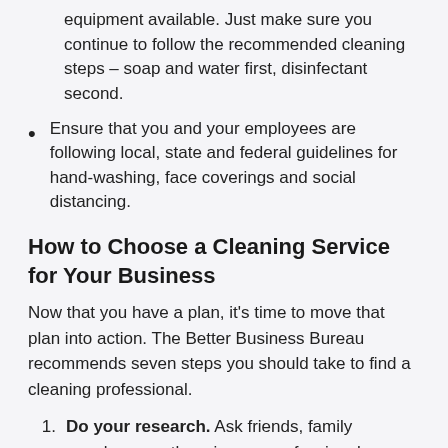equipment available. Just make sure you continue to follow the recommended cleaning steps – soap and water first, disinfectant second.
Ensure that you and your employees are following local, state and federal guidelines for hand-washing, face coverings and social distancing.
How to Choose a Cleaning Service for Your Business
Now that you have a plan, it's time to move that plan into action. The Better Business Bureau recommends seven steps you should take to find a cleaning professional.
Do your research. Ask friends, family members or others in your professional network for recommendations. Search for these or other companies online, and see what their reviewers have to say. It's recommended to find three